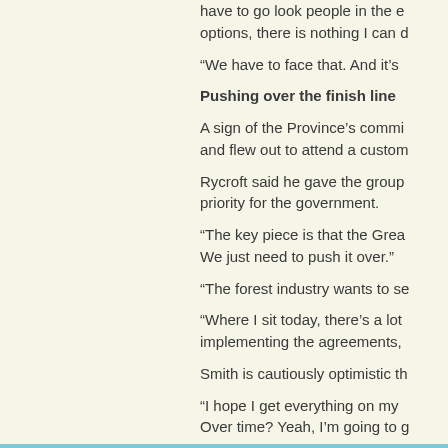have to go look people in the e options, there is nothing I can d
“We have to face that. And it’s
Pushing over the finish line
A sign of the Province’s commi and flew out to attend a custom
Rycroft said he gave the group priority for the government.
“The key piece is that the Grea We just need to push it over.”
“The forest industry wants to se
“Where I sit today, there’s a lot implementing the agreements,
Smith is cautiously optimistic th
“I hope I get everything on my Over time? Yeah, I’m going to g